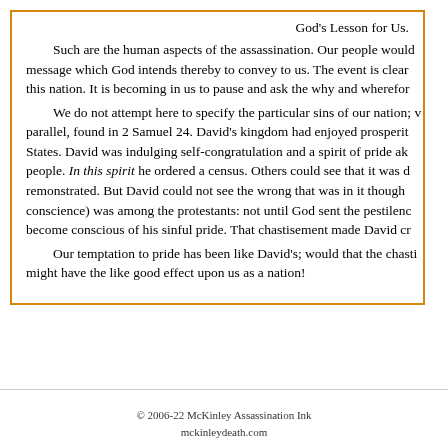God's Lesson for Us.
Such are the human aspects of the assassination. Our people would message which God intends thereby to convey to us. The event is clear this nation. It is becoming in us to pause and ask the why and wherefore.
We do not attempt here to specify the particular sins of our nation; parallel, found in 2 Samuel 24. David's kingdom had enjoyed prosperity States. David was indulging self-congratulation and a spirit of pride people. In this spirit he ordered a census. Others could see that it was remonstrated. But David could not see the wrong that was in it though conscience) was among the protestants: not until God sent the pestilence become conscious of his sinful pride. That chastisement made David cr
Our temptation to pride has been like David's; would that the chastisement might have the like good effect upon us as a nation!
© 2006-22 McKinley Assassination Ink
mckinleydeath.com